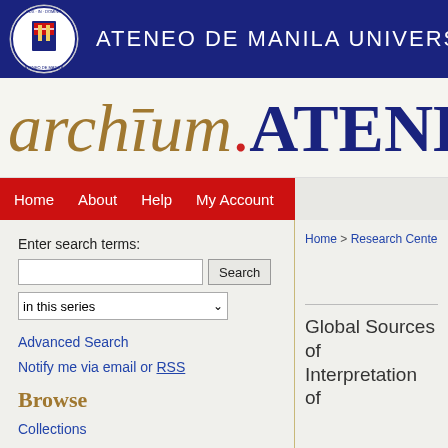[Figure (logo): Ateneo de Manila University circular seal/logo in white on navy background, alongside university name text]
ATENEO DE MANILA UNIVERS
archium.ATENEO
Home   About   Help   My Account
Enter search terms:
in this series
Advanced Search
Notify me via email or RSS
Browse
Collections
Home > Research Centers > SOS
Global Sources of Interpretation of